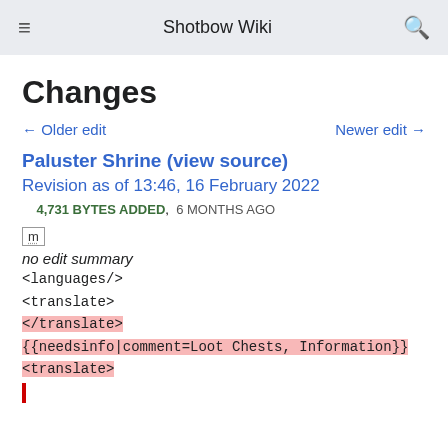Shotbow Wiki
Changes
← Older edit   Newer edit →
Paluster Shrine (view source)
Revision as of 13:46, 16 February 2022
4,731 BYTES ADDED,  6 MONTHS AGO
m
no edit summary
<languages/>
<translate>
</translate>
{{needsinfo|comment=Loot Chests, Information}}
<translate>
|